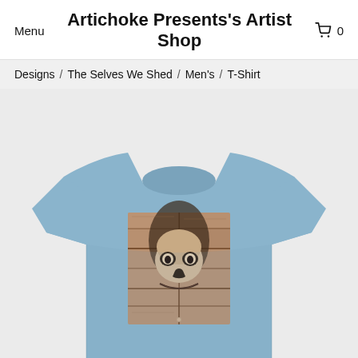Menu  Artichoke Presents's Artist Shop  🛒 0
Designs / The Selves We Shed / Men's / T-Shirt
[Figure (photo): A light blue men's t-shirt displayed on a white background. The shirt features a printed graphic design showing a skull-like face artwork on wooden plank texture, centered on the chest area.]